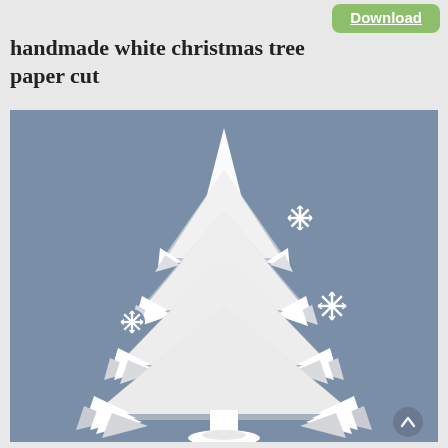handmade white christmas tree paper cut
[Figure (illustration): A handmade white paper cut Christmas tree on a blue-grey background, with white snowflake decorations around it. The tree has layered paper branches creating a 3D effect, with a trunk at the bottom.]